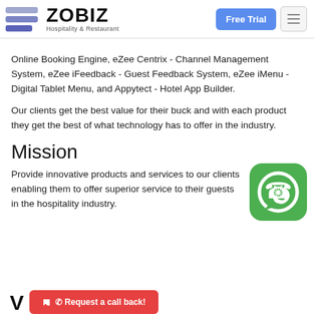ZOBIZ Hospitality & Restaurant | Free Trial
Online Booking Engine, eZee Centrix - Channel Management System, eZee iFeedback - Guest Feedback System, eZee iMenu - Digital Tablet Menu, and Appytect - Hotel App Builder.
Our clients get the best value for their buck and with each product they get the best of what technology has to offer in the industry.
Mission
[Figure (logo): WhatsApp app icon — green rounded square with white phone handset in speech bubble]
Provide innovative products and services to our clients enabling them to offer superior service to their guests in the hospitality industry.
V
[Figure (other): Red 'Request a call back!' button with phone icon]